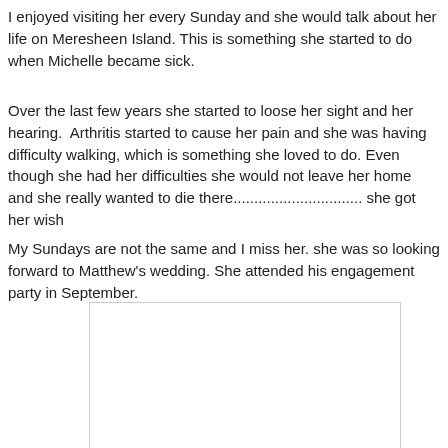I enjoyed visiting her every Sunday and she would talk about her life on Meresheen Island. This is something she started to do when Michelle became sick.
Over the last few years she started to loose her sight and her hearing.  Arthritis started to cause her pain and she was having difficulty walking, which is something she loved to do. Even though she had her difficulties she would not leave her home and she really wanted to die there............................... she got her wish
My Sundays are not the same and I miss her. she was so looking forward to Matthew's wedding. She attended his engagement party in September.
[Figure (other): A blank white rectangular image placeholder with a light border.]